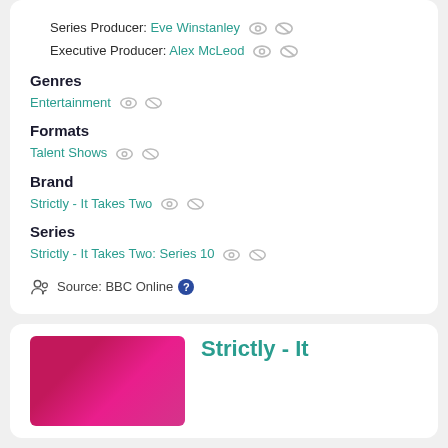Series Producer: Eve Winstanley
Executive Producer: Alex McLeod
Genres
Entertainment
Formats
Talent Shows
Brand
Strictly - It Takes Two
Series
Strictly - It Takes Two: Series 10
Source: BBC Online
[Figure (photo): A pink/magenta toned image showing dancers, partially visible at bottom of page]
Strictly - It